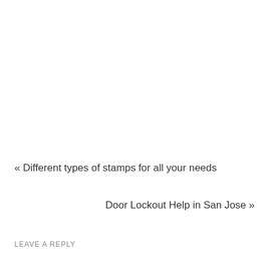« Different types of stamps for all your needs
Door Lockout Help in San Jose »
LEAVE A REPLY